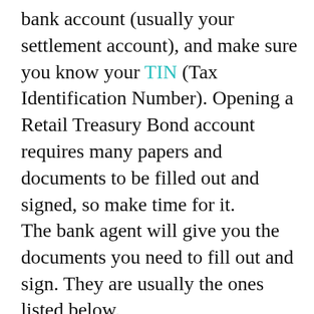bank account (usually your settlement account), and make sure you know your TIN (Tax Identification Number). Opening a Retail Treasury Bond account requires many papers and documents to be filled out and signed, so make time for it.
The bank agent will give you the documents you need to fill out and sign. They are usually the ones listed below.
[Figure (screenshot): Advertisement banner: 'Automate Your Comp Cycles' with a green 'LEARN MORE' button and an 'Ad' label at the bottom left. A close/skip icon appears at the top right.]